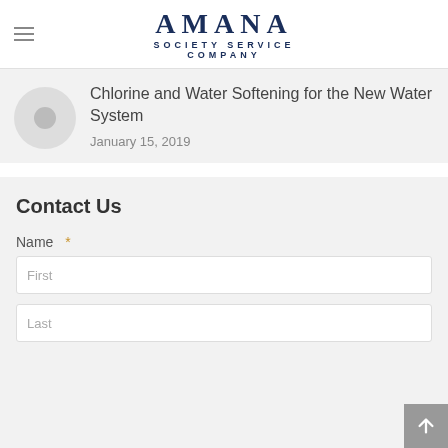AMANA SOCIETY SERVICE COMPANY
Chlorine and Water Softening for the New Water System
January 15, 2019
Contact Us
Name *
First
Last